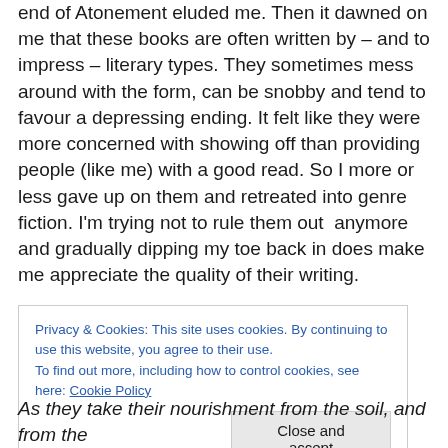end of Atonement eluded me. Then it dawned on me that these books are often written by – and to impress – literary types. They sometimes mess around with the form, can be snobby and tend to favour a depressing ending. It felt like they were more concerned with showing off than providing people (like me) with a good read. So I more or less gave up on them and retreated into genre fiction. I'm trying not to rule them out  anymore and gradually dipping my toe back in does make me appreciate the quality of their writing.
Privacy & Cookies: This site uses cookies. By continuing to use this website, you agree to their use.
To find out more, including how to control cookies, see here: Cookie Policy
As they take their nourishment from the soil, and from the